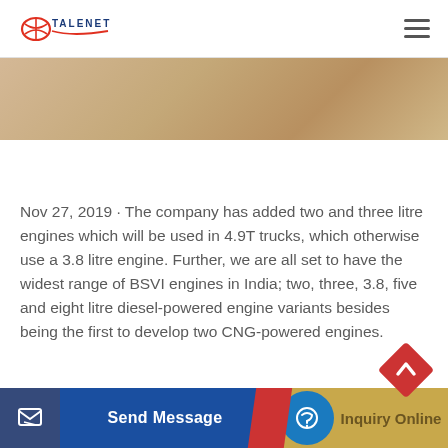TALENET — navigation bar with logo and hamburger menu
[Figure (photo): Partial image of wooden planks or lumber surface, cropped at top of page]
Nov 27, 2019 · The company has added two and three litre engines which will be used in 4.9T trucks, which otherwise use a 3.8 litre engine. Further, we are all set to have the widest range of BSVI engines in India; two, three, 3.8, five and eight litre diesel-powered engine variants besides being the first to develop two CNG-powered engines.
[Figure (infographic): Bottom navigation bar with 'Send Message' blue button on left and 'Inquiry Online' gold button on right, plus red diamond back-to-top arrow button]